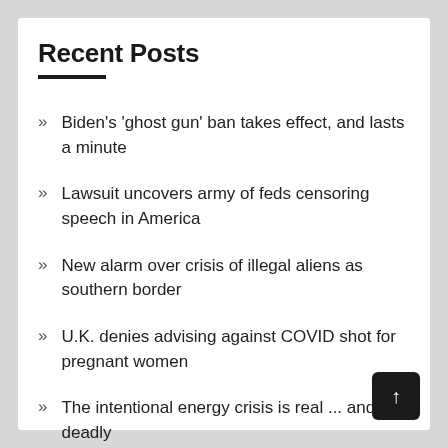Recent Posts
Biden's 'ghost gun' ban takes effect, and lasts a minute
Lawsuit uncovers army of feds censoring speech in America
New alarm over crisis of illegal aliens as southern border
U.K. denies advising against COVID shot for pregnant women
The intentional energy crisis is real ... and deadly